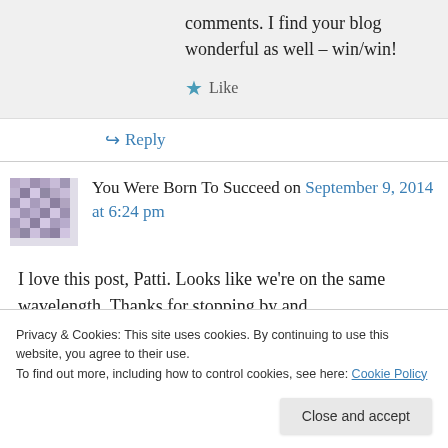comments. I find your blog wonderful as well – win/win!
★ Like
↪ Reply
You Were Born To Succeed on September 9, 2014 at 6:24 pm
I love this post, Patti. Looks like we're on the same wavelength. Thanks for stopping by and
Privacy & Cookies: This site uses cookies. By continuing to use this website, you agree to their use.
To find out more, including how to control cookies, see here: Cookie Policy
Close and accept